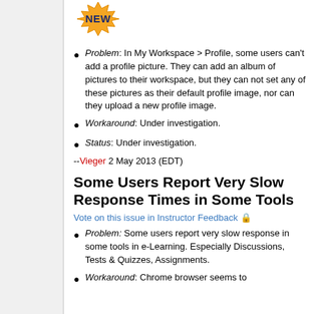[Figure (logo): NEW badge - a gold/yellow starburst badge with dark blue bold text reading NEW]
Problem: In My Workspace > Profile, some users can't add a profile picture. They can add an album of pictures to their workspace, but they can not set any of these pictures as their default profile image, nor can they upload a new profile image.
Workaround: Under investigation.
Status: Under investigation.
--Vieger 2 May 2013 (EDT)
Some Users Report Very Slow Response Times in Some Tools
Vote on this issue in Instructor Feedback 🔒
Problem: Some users report very slow response in some tools in e-Learning. Especially Discussions, Tests & Quizzes, Assignments.
Workaround: Chrome browser seems to